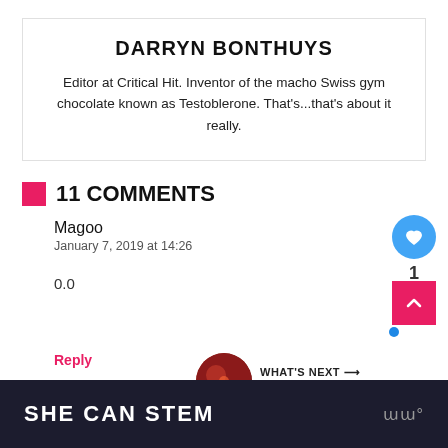DARRYN BONTHUYS
Editor at Critical Hit. Inventor of the macho Swiss gym chocolate known as Testoblerone. That's...that's about it really.
11 COMMENTS
Magoo
January 7, 2019 at 14:26
0.0
Reply
[Figure (other): What's next promo with image: The art and science of...]
SHE CAN STEM